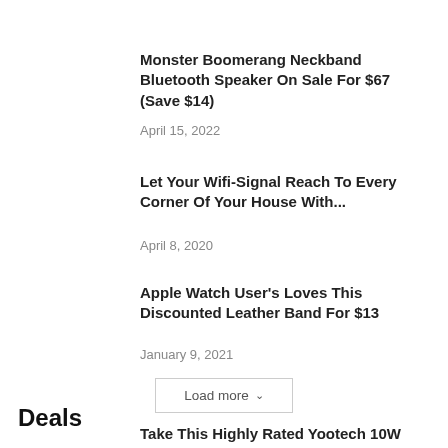Monster Boomerang Neckband Bluetooth Speaker On Sale For $67 (Save $14)
April 15, 2022
Let Your Wifi-Signal Reach To Every Corner Of Your House With...
April 8, 2020
Apple Watch User's Loves This Discounted Leather Band For $13
January 9, 2021
Load more
Deals
Take This Highly Rated Yootech 10W Max